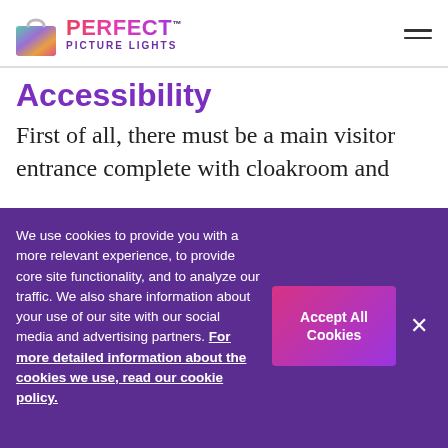Perfect Picture Lights
Accessibility
First of all, there must be a main visitor entrance complete with cloakroom and
We use cookies to provide you with a more relevant experience, to provide core site functionality, and to analyze our traffic. We also share information about your use of our site with our social media and advertising partners. For more detailed information about the cookies we use, read our cookie policy.